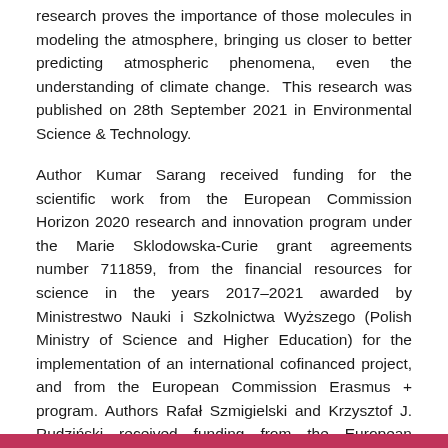research proves the importance of those molecules in modeling the atmosphere, bringing us closer to better predicting atmospheric phenomena, even the understanding of climate change. This research was published on 28th September 2021 in Environmental Science & Technology.
Author Kumar Sarang received funding for the scientific work from the European Commission Horizon 2020 research and innovation program under the Marie Sklodowska-Curie grant agreements number 711859, from the financial resources for science in the years 2017–2021 awarded by Ministrestwo Nauki i Szkolnictwa Wyższego (Polish Ministry of Science and Higher Education) for the implementation of an international cofinanced project, and from the European Commission Erasmus + program. Authors Rafał Szmigielski and Krzysztof J. Rudziński received funding from the European Commission Erasmus + program.
This publication is part of a project that has received funding from the European Union's Horizon 2020 research and